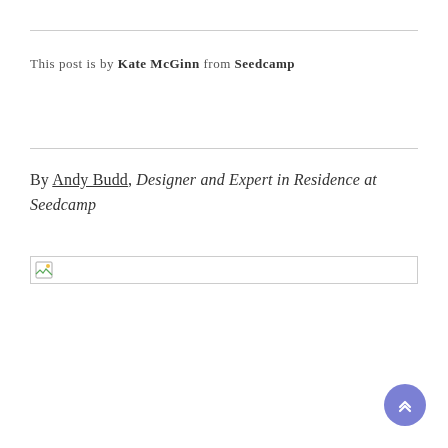This post is by Kate McGinn from Seedcamp
By Andy Budd, Designer and Expert in Residence at Seedcamp
[Figure (photo): Broken image placeholder thumbnail]